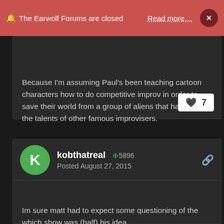🔔 The Earwolf Forums are closed   Read more…   ×
Because I'm assuming Paul's been teaching cartoon characters how to do competitive improv in order to save their world from a group of aliens that have stolen the talents of other famous improvisers.
kobthatreal  ⊕ 5896
Posted August 27, 2015
Im sure matt had to expect some questioning of the which show was (half) his idea.